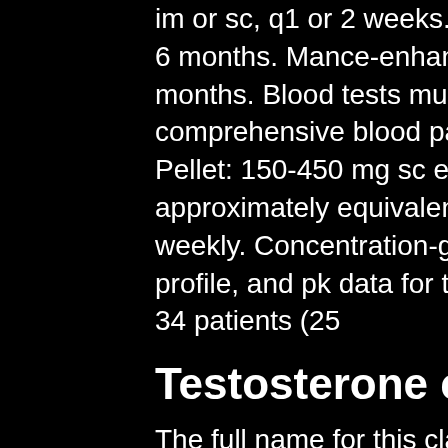im or sc, q1 or 2 weeks. - testopel - implant 6-10 pellets q 3 to 6 months. Mance-enhancing supplements in the previous 6 months. Blood tests must be within the last 6 months and be a comprehensive blood panel test. File(s) size limit is 20mb. Pellet: 150-450 mg sc every 3-6 months; 150 mg of pellet approximately equivalent to 25 mg of testosterone propionate weekly. Concentration-guided exposure to scte, 6-month safety profile, and pk data for the 75 mg dose scte. Results: in total, 34 patients (25
Testosterone cypionate drug class
The full name for this class of drugs is androgenic (promoting masculine characteristics) anabolic (tissue building) steroids (the class of drugs). Testosterone 17 beta-cypionate [chemical/ingredient]. Has androgenic functions. DMEF testosterone